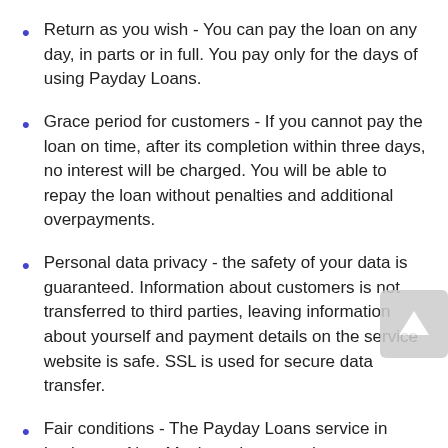Return as you wish - You can pay the loan on any day, in parts or in full. You pay only for the days of using Payday Loans.
Grace period for customers - If you cannot pay the loan on time, after its completion within three days, no interest will be charged. You will be able to repay the loan without penalties and additional overpayments.
Personal data privacy - the safety of your data is guaranteed. Information about customers is not transferred to third parties, leaving information about yourself and payment details on the service website is safe. SSL is used for secure data transfer.
Fair conditions - The Payday Loans service in Lovington, New Mexico , does not charge customers additional fees. All conditions are spelled out in the contract and do not change after its signing. You can sign the contract online. It saves time.